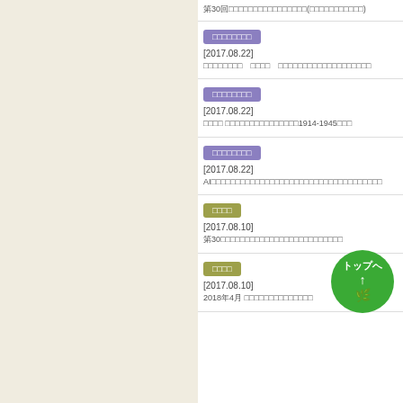第30回□□□□□□□□□□□□□□□□(□□□□□□□□□□□)
□□□□□□□□
[2017.08.22]
□□□□□□□□　□□□□　□□□□□□□□□□□□□□□□□□□
□□□□□□□□
[2017.08.22]
□□□□ □□□□□□□□□□□□□□□1914-1945□□□
□□□□□□□□
[2017.08.22]
AI□□□□□□□□□□□□□□□□□□□□□□□□□□□□□□□□□□□
□□□□
[2017.08.10]
第30□□□□□□□□□□□□□□□□□□□□□□□□□
□□□□
[2017.08.10]
2018年4月 □□□□□□□□□□□□□□